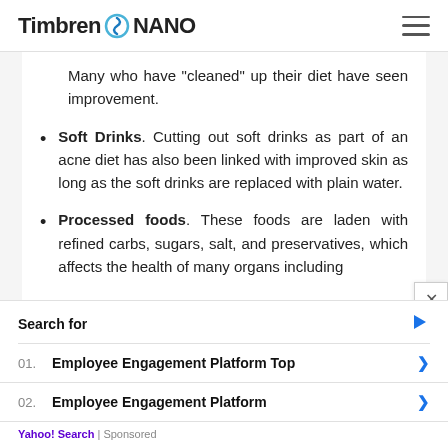Timbren NANO
Many who have “cleaned” up their diet have seen improvement.
Soft Drinks. Cutting out soft drinks as part of an acne diet has also been linked with improved skin as long as the soft drinks are replaced with plain water.
Processed foods. These foods are laden with refined carbs, sugars, salt, and preservatives, which affects the health of many organs including
Search for
01. Employee Engagement Platform Top
02. Employee Engagement Platform
Yahoo! Search | Sponsored